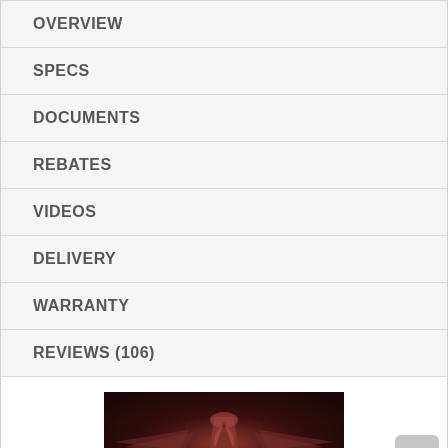OVERVIEW
SPECS
DOCUMENTS
REBATES
VIDEOS
DELIVERY
WARRANTY
REVIEWS (106)
[Figure (photo): Dark reddish-brown product image showing what appears to be a vehicle or machine viewed from the front, set against a dark background.]